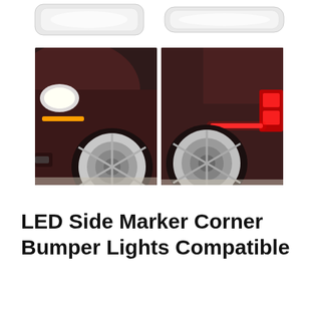[Figure (photo): Two clear/translucent LED side marker light units shown on white background — a smaller rounded trapezoidal unit on the left and a longer oval/elongated unit on the right]
[Figure (photo): Two side-by-side photos of a dark maroon/brown Corvette C6: left photo shows front corner with amber LED side marker light glowing; right photo shows rear corner with red LED side marker light glowing]
LED Side Marker Corner Bumper Lights Compatible